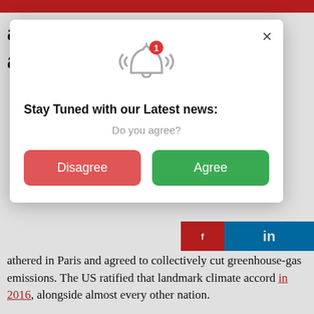Paris climate hat means
[Figure (screenshot): Modal popup with bell notification icon, title 'Stay Tuned with our Latest news:', subtitle 'Do you agree?', and two buttons: 'Disagree' (red) and 'Agree' (green). An X close button is top right of the modal.]
athered in Paris and agreed to collectively cut greenhouse-gas emissions. The US ratified that landmark climate accord in 2016, alongside almost every other nation.
But on Wednesday, the US withdrew from Paris climate agreement – the only nation to ever do so.
Because of processes established in the agreement,